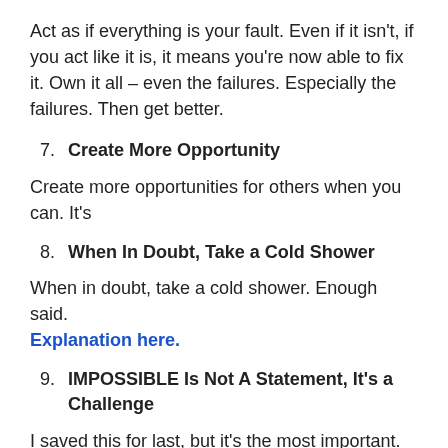Act as if everything is your fault. Even if it isn't, if you act like it is, it means you're now able to fix it. Own it all – even the failures. Especially the failures. Then get better.
7. Create More Opportunity
Create more opportunities for others when you can. It's
8. When In Doubt, Take a Cold Shower
When in doubt, take a cold shower. Enough said. Explanation here.
9. IMPOSSIBLE Is Not A Statement, It's a Challenge
I saved this for last, but it's the most important.